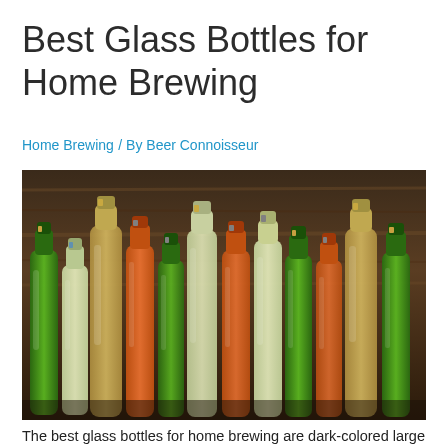Best Glass Bottles for Home Brewing
Home Brewing / By Beer Connoisseur
[Figure (photo): A row of various glass beer bottles in green, clear, and amber colors filled with different colored liquids, lined up against a dark rustic wooden background.]
The best glass bottles for home brewing are dark-colored large